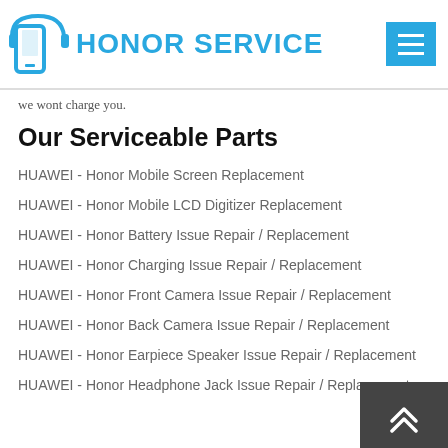HONOR SERVICE
we wont charge you.
Our Serviceable Parts
HUAWEI - Honor Mobile Screen Replacement
HUAWEI - Honor Mobile LCD Digitizer Replacement
HUAWEI - Honor Battery Issue Repair / Replacement
HUAWEI - Honor Charging Issue Repair / Replacement
HUAWEI - Honor Front Camera Issue Repair / Replacement
HUAWEI - Honor Back Camera Issue Repair / Replacement
HUAWEI - Honor Earpiece Speaker Issue Repair / Replacement
HUAWEI - Honor Headphone Jack Issue Repair / Replacement